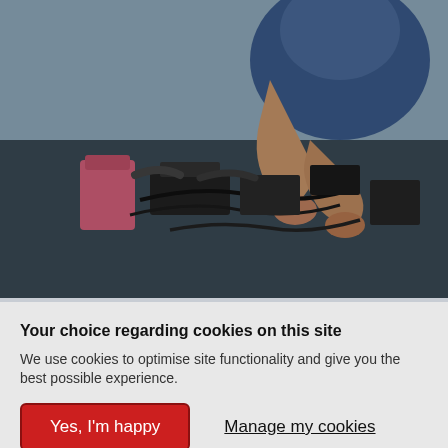[Figure (photo): A mechanic working on a car engine, viewed from above. The mechanic is wearing a blue shirt and reaching into the engine bay with both hands. Engine components including hoses, wiring, and a pink coolant reservoir are visible.]
MOT extensions mean possible backlogs this autumn
Your choice regarding cookies on this site
We use cookies to optimise site functionality and give you the best possible experience.
Yes, I'm happy
Manage my cookies